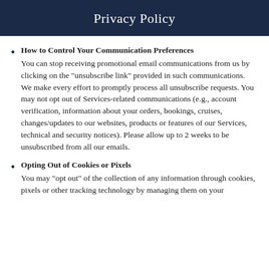Privacy Policy
How to Control Your Communication Preferences
You can stop receiving promotional email communications from us by clicking on the “unsubscribe link” provided in such communications. We make every effort to promptly process all unsubscribe requests. You may not opt out of Services-related communications (e.g., account verification, information about your orders, bookings, cruises, changes/updates to our websites, products or features of our Services, technical and security notices). Please allow up to 2 weeks to be unsubscribed from all our emails.
Opting Out of Cookies or Pixels
You may “opt out” of the collection of any information through cookies, pixels or other tracking technology by managing them on your